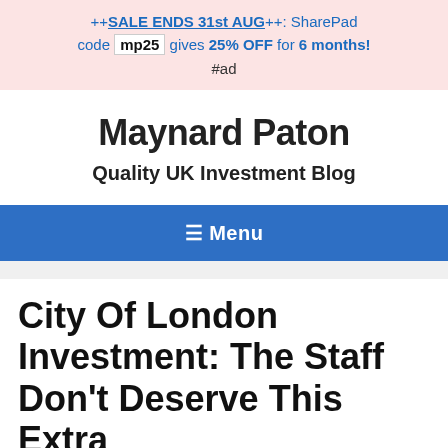++SALE ENDS 31st AUG++: SharePad code mp25 gives 25% OFF for 6 months! #ad
Maynard Paton
Quality UK Investment Blog
≡ Menu
City Of London Investment: The Staff Don't Deserve This Extra